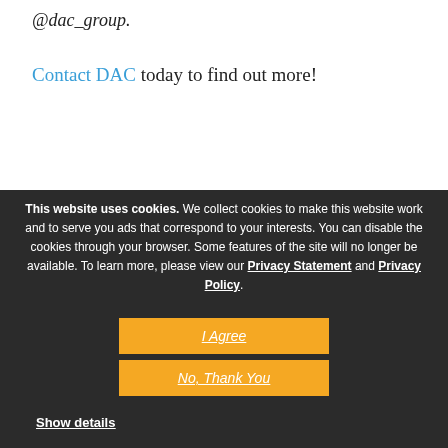@dac_group.
Contact DAC today to find out more!
This website uses cookies. We collect cookies to make this website work and to serve you ads that correspond to your interests. You can disable the cookies through your browser. Some features of the site will no longer be available. To learn more, please view our Privacy Statement and Privacy Policy.
I Agree
No, Thank You
Show details